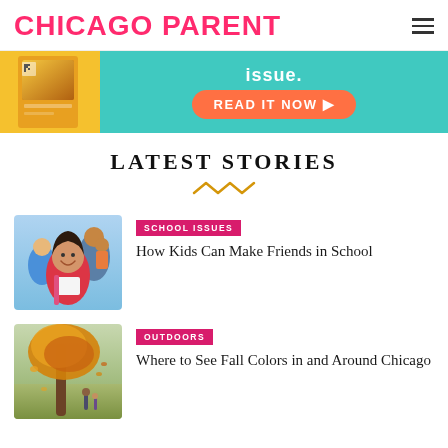CHICAGO PARENT
[Figure (illustration): Promotional banner ad with magazine cover on yellow background and teal section reading 'issue.' with an orange 'READ IT NOW ▶' button]
LATEST STORIES
[Figure (illustration): Decorative zigzag/wave orange divider line]
SCHOOL ISSUES
How Kids Can Make Friends in School
[Figure (photo): Smiling young girl with backpack surrounded by friends at school]
OUTDOORS
Where to See Fall Colors in and Around Chicago
[Figure (photo): Autumn park scene with large tree and golden fall foliage, two people walking]